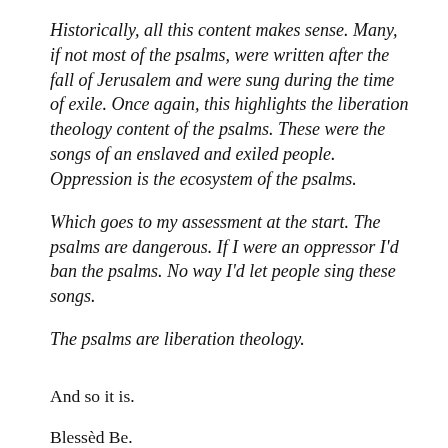Historically, all this content makes sense. Many, if not most of the psalms, were written after the fall of Jerusalem and were sung during the time of exile. Once again, this highlights the liberation theology content of the psalms. These were the songs of an enslaved and exiled people. Oppression is the ecosystem of the psalms.
Which goes to my assessment at the start. The psalms are dangerous. If I were an oppressor I'd ban the psalms. No way I'd let people sing these songs.
The psalms are liberation theology.
And so it is.
Blessèd Be.